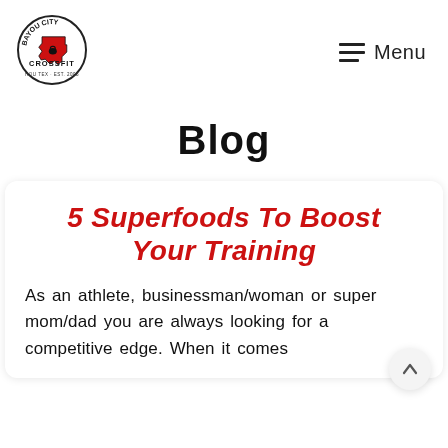[Figure (logo): Bayou City CrossFit logo with Texas state outline and circular text reading BAYOU CITY CROSSFIT HOU TEX EST 2008]
Menu
Blog
5 Superfoods To Boost Your Training
As an athlete, businessman/woman or super mom/dad you are always looking for a competitive edge. When it comes